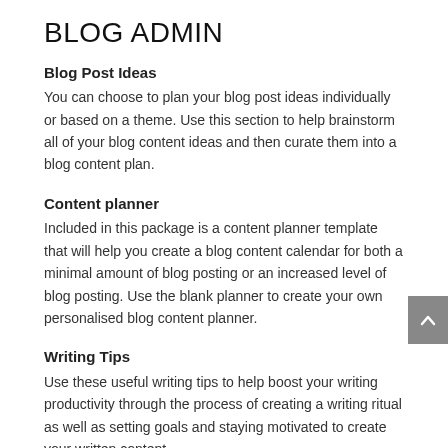BLOG ADMIN
Blog Post Ideas
You can choose to plan your blog post ideas individually or based on a theme. Use this section to help brainstorm all of your blog content ideas and then curate them into a blog content plan.
Content planner
Included in this package is a content planner template that will help you create a blog content calendar for both a minimal amount of blog posting or an increased level of blog posting. Use the blank planner to create your own personalised blog content planner.
Writing Tips
Use these useful writing tips to help boost your writing productivity through the process of creating a writing ritual as well as setting goals and staying motivated to create your written content.